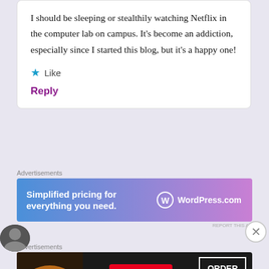I should be sleeping or stealthily watching Netflix in the computer lab on campus. It’s become an addiction, especially since I started this blog, but it’s a happy one!
★ Like
Reply
Advertisements
[Figure (screenshot): WordPress.com banner ad: 'Simplified pricing for everything you need.' with WordPress.com logo on gradient blue-to-pink background]
REPORT THIS AD
[Figure (photo): Circular dark avatar image, partially visible]
Advertisements
[Figure (screenshot): Seamless food delivery banner ad: pizza image on left, Seamless logo in red badge in center, ORDER NOW button on right, dark background]